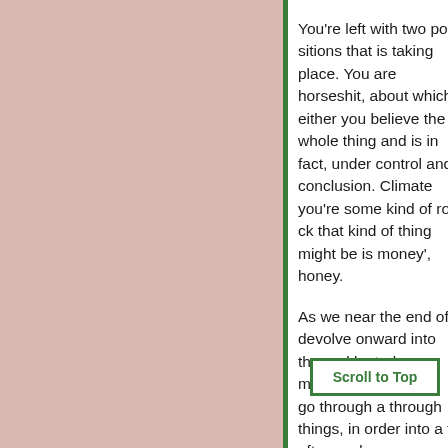You're left with two po… that is taking place. Yo… horseshit, about which… you believe the whole… and is in fact, under co… and conclusion. Clima… you're some kind of ro… that kind of thing migh… is money', honey.
As we near the end of… devolve onward into th… and by truly mysteriou… We don't go through a… through things, in orde… into a… afterwards.